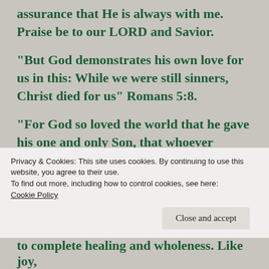assurance that He is always with me. Praise be to our LORD and Savior.
“But God demonstrates his own love for us in this: While we were still sinners, Christ died for us” Romans 5:8.
“For God so loved the world that he gave his one and only Son, that whoever believes in him shall not perish but have eternal life” John 3:16
Privacy & Cookies: This site uses cookies. By continuing to use this website, you agree to their use.
To find out more, including how to control cookies, see here: Cookie Policy
Close and accept
to complete healing and wholeness. Like joy,